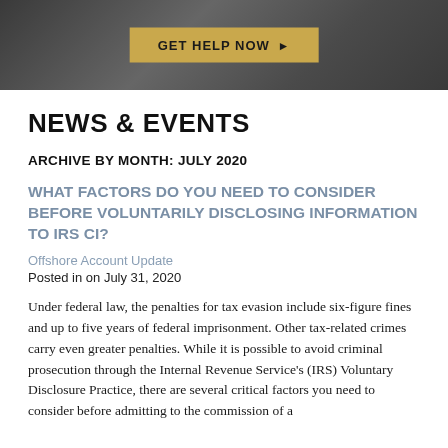[Figure (photo): Dark grayscale header background image with a golden 'GET HELP NOW ▶' button in the center]
NEWS & EVENTS
ARCHIVE BY MONTH: JULY 2020
WHAT FACTORS DO YOU NEED TO CONSIDER BEFORE VOLUNTARILY DISCLOSING INFORMATION TO IRS CI?
Offshore Account Update
Posted in on July 31, 2020
Under federal law, the penalties for tax evasion include six-figure fines and up to five years of federal imprisonment. Other tax-related crimes carry even greater penalties. While it is possible to avoid criminal prosecution through the Internal Revenue Service's (IRS) Voluntary Disclosure Practice, there are several critical factors you need to consider before admitting to the commission of a